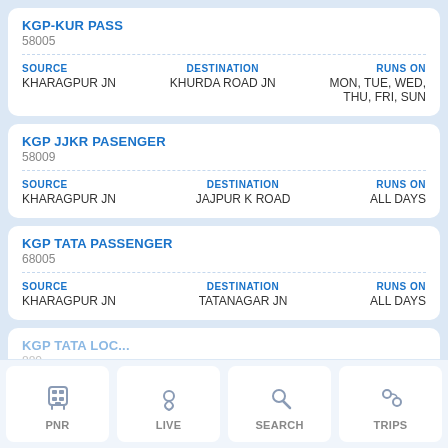KGP-KUR PASS
58005
| SOURCE | DESTINATION | RUNS ON |
| --- | --- | --- |
| KHARAGPUR JN | KHURDA ROAD JN | MON, TUE, WED, THU, FRI, SUN |
KGP JJKR PASENGER
58009
| SOURCE | DESTINATION | RUNS ON |
| --- | --- | --- |
| KHARAGPUR JN | JAJPUR K ROAD | ALL DAYS |
KGP TATA PASSENGER
68005
| SOURCE | DESTINATION | RUNS ON |
| --- | --- | --- |
| KHARAGPUR JN | TATANAGAR JN | ALL DAYS |
KGP TATA LOC... 880...
PNR
LIVE
SEARCH
TRIPS